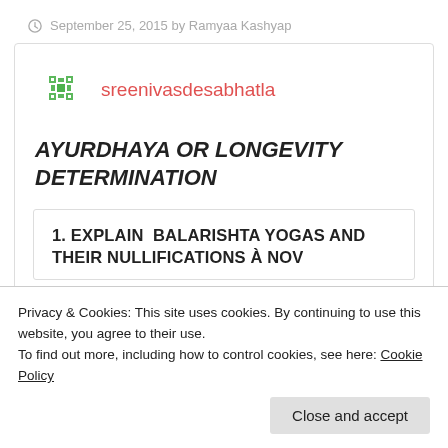September 25, 2015 by Ramyaa Kashyap
sreenivasdesabhatla
AYURDHAYA OR LONGEVITY DETERMINATION
1. EXPLAIN  BALARISHTA YOGAS AND THEIR NULLIFICATIONS à NOV
Privacy & Cookies: This site uses cookies. By continuing to use this website, you agree to their use.
To find out more, including how to control cookies, see here: Cookie Policy